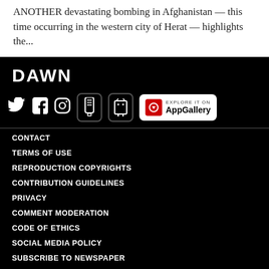ANOTHER devastating bombing in Afghanistan — this time occurring in the western city of Herat — highlights the...
[Figure (logo): DAWN news website logo and footer with social media icons (Twitter, Facebook, Instagram), mobile app icons (iOS, Android), Huawei AppGallery button, and navigation links: CONTACT, TERMS OF USE, REPRODUCTION COPYRIGHTS, CONTRIBUTION GUIDELINES, PRIVACY, COMMENT MODERATION, CODE OF ETHICS, SOCIAL MEDIA POLICY, SUBSCRIBE TO NEWSPAPER, ADVERTISE ON DAWN.COM, SPONSORED CONTENT]